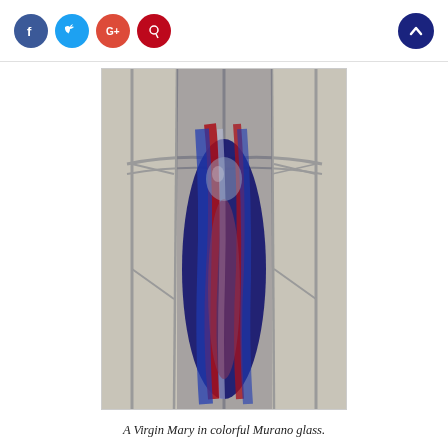Social share icons and scroll-to-top button
[Figure (photo): A Virgin Mary figurine sculpted in colorful Murano glass — deep blue, red, and clear glass swirled together, held within a metal wire frame structure.]
A Virgin Mary in colorful Murano glass.